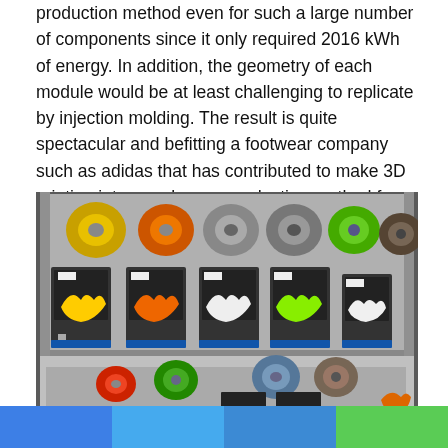production method even for such a large number of components since it only required 2016 kWh of energy. In addition, the geometry of each module would be at least challenging to replicate by injection molding. The result is quite spectacular and befitting a footwear company such as adidas that has contributed to make 3D printing into a real mass production method for midsoles.
[Figure (photo): Multiple 3D printers arranged on metal shelving racks, each printing colorful midsole components in yellow, orange, white, green, and white colors. Filament spools in corresponding colors are mounted above each printer. A second shelf below shows more printers and filament spools.]
[Figure (infographic): Horizontal color bar divided into four segments: blue, light blue, medium blue, and green — likely a footer navigation or branding bar.]